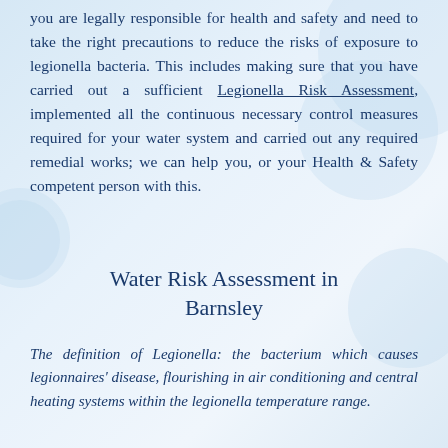you are legally responsible for health and safety and need to take the right precautions to reduce the risks of exposure to legionella bacteria. This includes making sure that you have carried out a sufficient Legionella Risk Assessment, implemented all the continuous necessary control measures required for your water system and carried out any required remedial works; we can help you, or your Health & Safety competent person with this.
Water Risk Assessment in Barnsley
The definition of Legionella: the bacterium which causes legionnaires' disease, flourishing in air conditioning and central heating systems within the legionella temperature range.